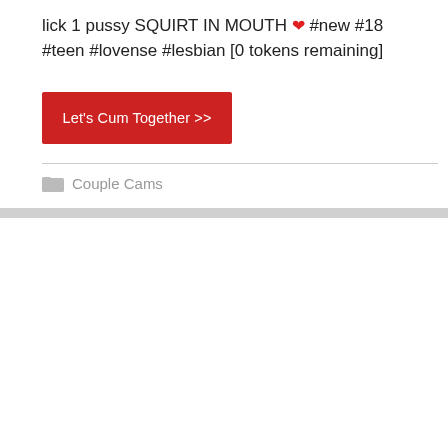lick 1 pussy SQUIRT IN MOUTH ❤ #new #18 #teen #lovense #lesbian [0 tokens remaining]
Let's Cum Together >>
Couple Cams
[Figure (logo): Chaturbate logo on grey background]